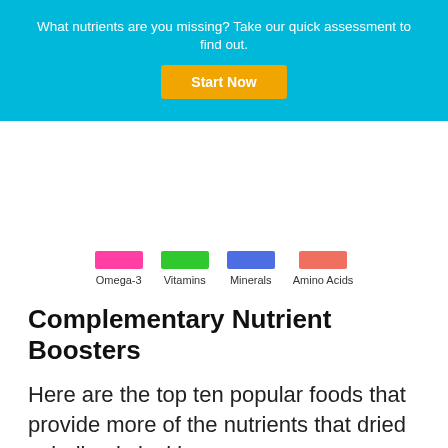What nutrients are you missing? Take our quick assessment to find out.
Start Now
[Figure (infographic): Legend showing four colored swatches with labels: Omega-3 (pink/hot pink), Vitamins (green), Minerals (blue), Amino Acids (salmon/coral red)]
Complementary Nutrient Boosters
Here are the top ten popular foods that provide more of the nutrients that dried spirulina is lacking.